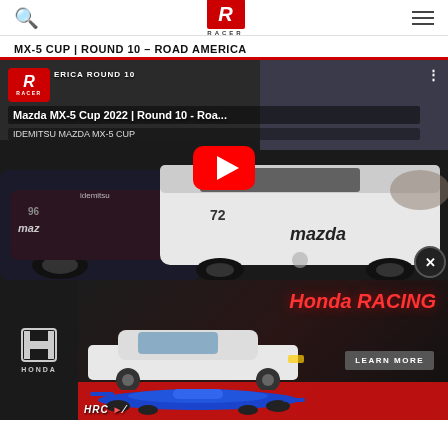RACER logo, search icon, hamburger menu
MX-5 CUP | ROUND 10 – ROAD AMERICA
[Figure (screenshot): YouTube video thumbnail showing Mazda MX-5 Cup 2022 racing cars at Road America Round 10, with red YouTube play button overlay and video title 'Mazda MX-5 Cup 2022 | Round 10 - Roa...']
[Figure (photo): Honda Racing advertisement banner featuring a white Honda Civic sedan and a blue IndyCar, with 'Honda RACING' text in red and 'LEARN MORE' button. Honda logo on left side.]